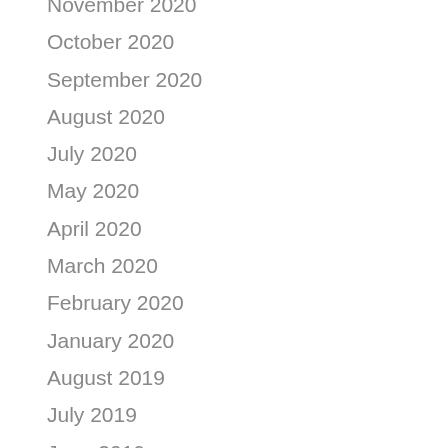November 2020
October 2020
September 2020
August 2020
July 2020
May 2020
April 2020
March 2020
February 2020
January 2020
August 2019
July 2019
June 2019
May 2019
April 2019